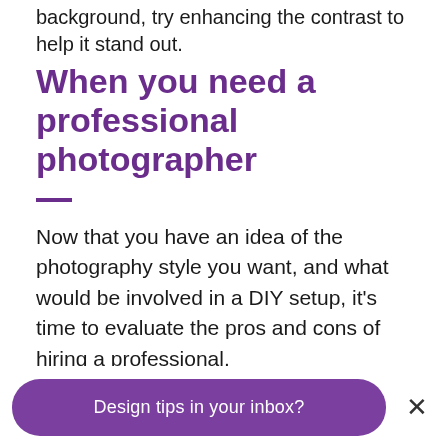background, try enhancing the contrast to help it stand out.
When you need a professional photographer
Now that you have an idea of the photography style you want, and what would be involved in a DIY setup, it's time to evaluate the pros and cons of hiring a professional.
[Figure (photo): Partial view of a table or image strip with white boxes on left and a light green area on right]
Design tips in your inbox?